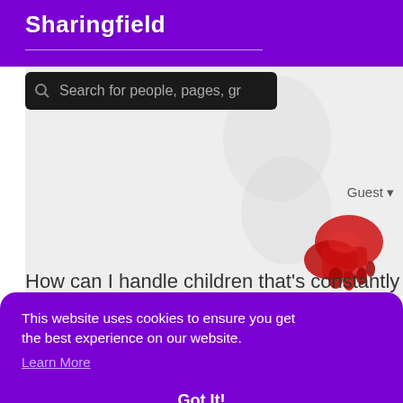Sharingfield
Search for people, pages, gr
Guest ▾
[Figure (photo): Background image showing what appears to be a hand or figure with red coloring on a white/gray background]
How can I handle children that's constantly waste
This website uses cookies to ensure you get the best experience on our website. Learn More Got It!